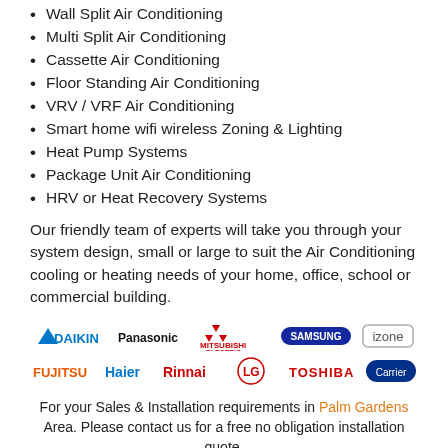Wall Split Air Conditioning
Multi Split Air Conditioning
Cassette Air Conditioning
Floor Standing Air Conditioning
VRV / VRF Air Conditioning
Smart home wifi wireless Zoning & Lighting
Heat Pump Systems
Package Unit Air Conditioning
HRV or Heat Recovery Systems
Our friendly team of experts will take you through your system design, small or large to suit the Air Conditioning cooling or heating needs of your home, office, school or commercial building.
[Figure (logo): Brand logos: Daikin, Panasonic, Mitsubishi Electric, Samsung, izone, Fujitsu, Haier, Rinnai, LG, Toshiba, Carrier]
For your Sales & Installation requirements in Palm Gardens Area. Please contact us for a free no obligation installation quote.